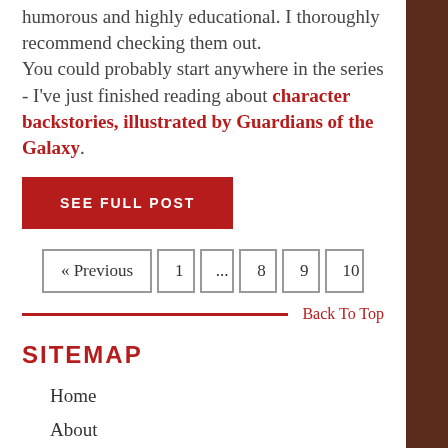humorous and highly educational. I thoroughly recommend checking them out. You could probably start anywhere in the series - I've just finished reading about character backstories, illustrated by Guardians of the Galaxy.
SEE FULL POST
« Previous  1  ...  8  9  10
Back To Top
SITEMAP
Home
About